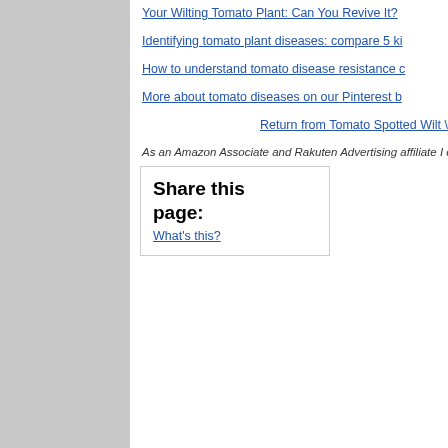Your Wilting Tomato Plant: Can You Revive It?
Identifying tomato plant diseases: compare 5 ki…
How to understand tomato disease resistance c…
More about tomato diseases on our Pinterest b…
Return from Tomato Spotted Wilt V…
As an Amazon Associate and Rakuten Advertising affiliate I ea…
Share this page:
What's this?